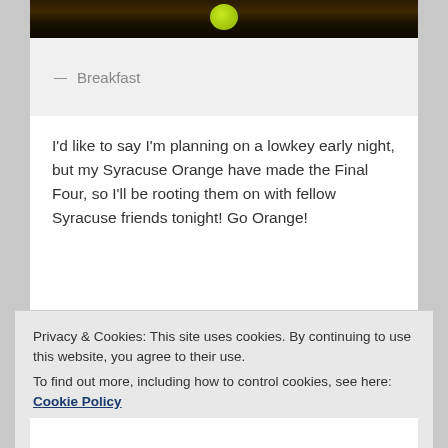[Figure (photo): Photo of food/breakfast item (partially visible), dark background with a green/yellow round object visible]
— Breakfast
I’d like to say I’m planning on a lowkey early night, but my Syracuse Orange have made the Final Four, so I’ll be rooting them on with fellow Syracuse friends tonight! Go Orange!
Privacy & Cookies: This site uses cookies. By continuing to use this website, you agree to their use.
To find out more, including how to control cookies, see here: Cookie Policy